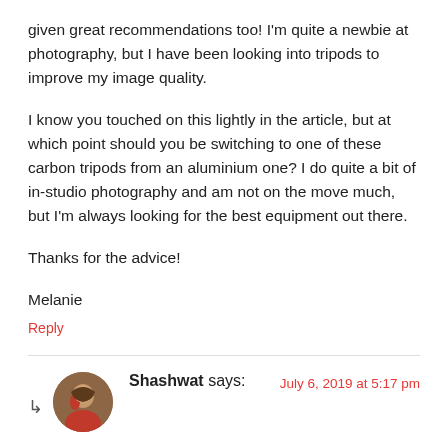given great recommendations too! I'm quite a newbie at photography, but I have been looking into tripods to improve my image quality.
I know you touched on this lightly in the article, but at which point should you be switching to one of these carbon tripods from an aluminium one? I do quite a bit of in-studio photography and am not on the move much, but I'm always looking for the best equipment out there.
Thanks for the advice!
Melanie
Reply
Shashwat says:
July 6, 2019 at 5:17 pm
Hey Melanie
There isn't a certain level which you must cross to change over...